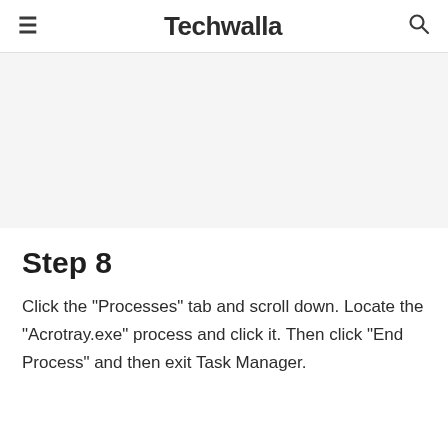≡ Techwalla 🔍
[Figure (other): Gray advertisement placeholder area]
Step 8
Click the "Processes" tab and scroll down. Locate the "Acrotray.exe" process and click it. Then click "End Process" and then exit Task Manager.